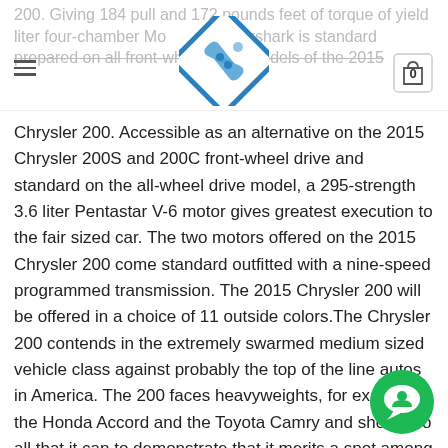200. Giving 184 pull and 172 pounds feet of torque of yield liter four-chamber Moto Tigershark is standard prepared on all front-wheel drive models of the 2015
Chrysler 200. Accessible as an alternative on the 2015 Chrysler 200S and 200C front-wheel drive and standard on the all-wheel drive model, a 295-strength 3.6 liter Pentastar V-6 motor gives greatest execution to the fair sized car. The two motors offered on the 2015 Chrysler 200 come standard outfitted with a nine-speed programmed transmission. The 2015 Chrysler 200 will be offered in a choice of 11 outside colors.The Chrysler 200 contends in the extremely swarmed medium sized vehicle class against probably the top of the line autos in America. The 200 faces heavyweights, for example, the Honda Accord and the Toyota Camry and should do all that it can to demonstrate that it merits a spot among those business chiefs. The 200 beginnings at $22,000 and offers a lot of standard hardware at that. The new suspension is substantially more present day and